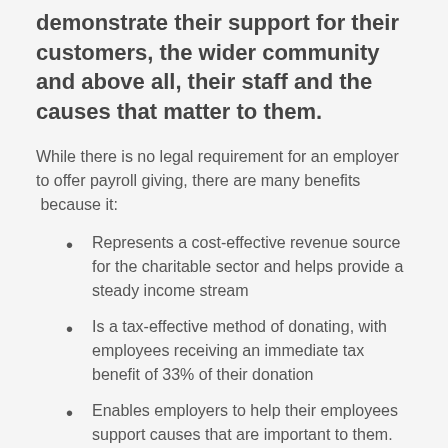demonstrate their support for their customers, the wider community and above all, their staff and the causes that matter to them.
While there is no legal requirement for an employer to offer payroll giving, there are many benefits  because it:
Represents a cost-effective revenue source for the charitable sector and helps provide a steady income stream
Is a tax-effective method of donating, with employees receiving an immediate tax benefit of 33% of their donation
Enables employers to help their employees support causes that are important to them.
Can be used to support employers' corporate community investment and recruitment and